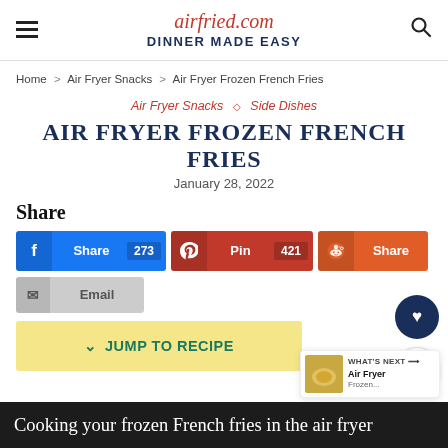airfried.com DINNER MADE EASY
Home > Air Fryer Snacks > Air Fryer Frozen French Fries
Air Fryer Snacks ◇ Side Dishes
AIR FRYER FROZEN FRENCH FRIES
January 28, 2022
Share
Share 273 | Pin 421 | Share | Email | JUMP TO RECIPE
Cooking your frozen French fries in the air fryer